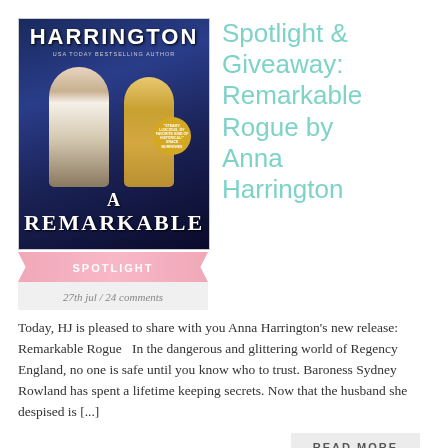[Figure (illustration): Book cover for 'A Remarkable Rogue' by Anna Harrington showing two figures in an embrace against a dark blue night background, with a pink spotlight banner across the bottom.]
27th jul / 24 comments
Spotlight & Giveaway: Remarkable Rogue by Anna Harrington
Today, HJ is pleased to share with you Anna Harrington's new release: Remarkable Rogue   In the dangerous and glittering world of Regency England, no one is safe until you know who to trust. Baroness Sydney Rowland has spent a lifetime keeping secrets. Now that the husband she despised is [...]